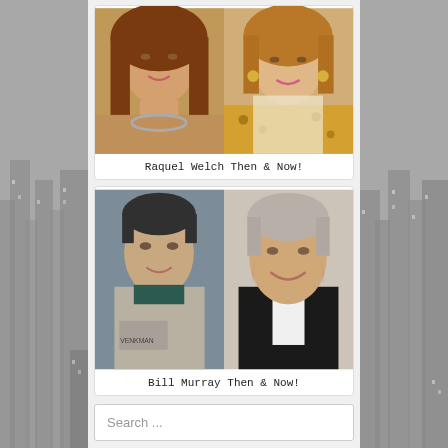[Figure (photo): Two side-by-side photos of Raquel Welch young (left) and older (right)]
Raquel Welch Then & Now!
[Figure (photo): Two side-by-side photos of Bill Murray young in Ghostbusters costume (left) and older in tuxedo (right)]
Bill Murray Then & Now!
Search ...